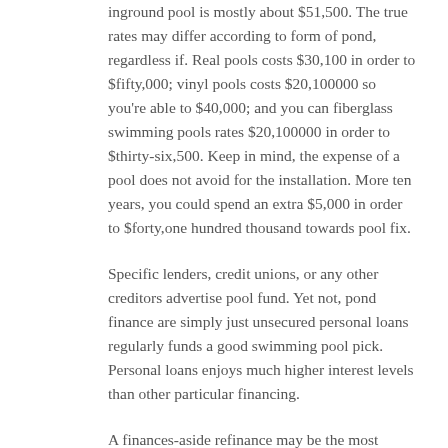inground pool is mostly about $51,500. The true rates may differ according to form of pond, regardless if. Real pools costs $30,100 in order to $fifty,000; vinyl pools costs $20,100000 so you're able to $40,000; and you can fiberglass swimming pools rates $20,100000 in order to $thirty-six,500. Keep in mind, the expense of a pool does not avoid for the installation. More ten years, you could spend an extra $5,000 in order to $forty,one hundred thousand towards pool fix.
Specific lenders, credit unions, or any other creditors advertise pool fund. Yet not, pond finance are simply just unsecured personal loans regularly funds a good swimming pool pick. Personal loans enjoys much higher interest levels than other particular financing.
A finances-aside refinance may be the most practical way to invest in a pool if you're able to along with